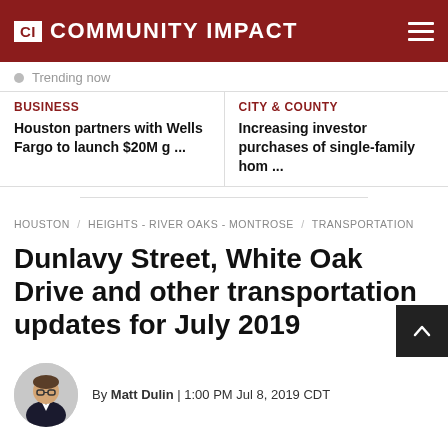CI COMMUNITY IMPACT
Trending now
BUSINESS
Houston partners with Wells Fargo to launch $20M g ...
CITY & COUNTY
Increasing investor purchases of single-family hom ...
HOUSTON / HEIGHTS - RIVER OAKS - MONTROSE / TRANSPORTATION
Dunlavy Street, White Oak Drive and other transportation updates for July 2019
By Matt Dulin | 1:00 PM Jul 8, 2019 CDT